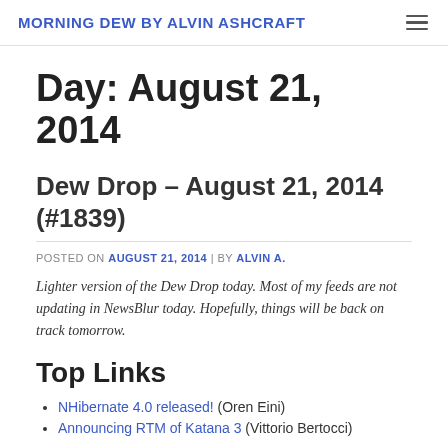MORNING DEW BY ALVIN ASHCRAFT
Day: August 21, 2014
Dew Drop – August 21, 2014 (#1839)
POSTED ON AUGUST 21, 2014 | BY ALVIN A.
Lighter version of the Dew Drop today. Most of my feeds are not updating in NewsBlur today. Hopefully, things will be back on track tomorrow.
Top Links
NHibernate 4.0 released! (Oren Eini)
Announcing RTM of Katana 3 (Vittorio Bertocci)